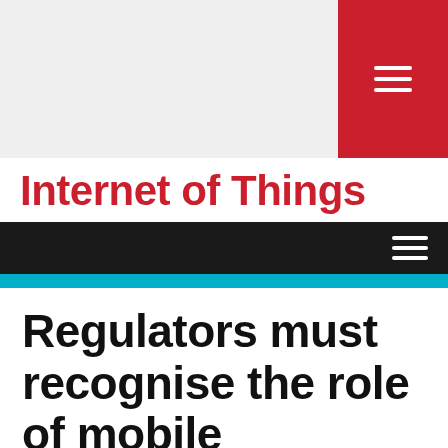Internet of Things
Regulators must recognise the role of mobile connectivity for commercial drones to flourish